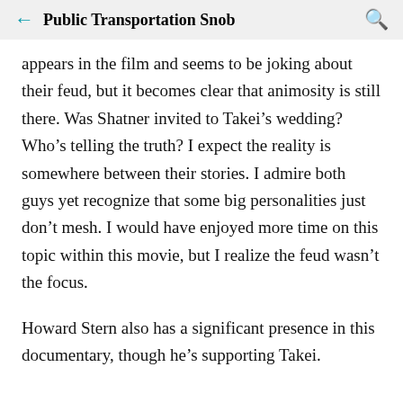← Public Transportation Snob 🔍
appears in the film and seems to be joking about their feud, but it becomes clear that animosity is still there. Was Shatner invited to Takei's wedding? Who's telling the truth? I expect the reality is somewhere between their stories. I admire both guys yet recognize that some big personalities just don't mesh. I would have enjoyed more time on this topic within this movie, but I realize the feud wasn't the focus.
Howard Stern also has a significant presence in this documentary, though he's supporting Takei.